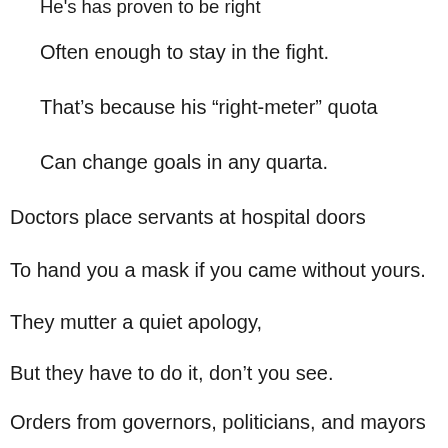He's has proven to be right
Often enough to stay in the fight.
That's because his “right-meter” quota
Can change goals in any quarta.
Doctors place servants at hospital doors
To hand you a mask if you came without yours.
They mutter a quiet apology,
But they have to do it, don’t you see.
Orders from governors, politicians, and mayors